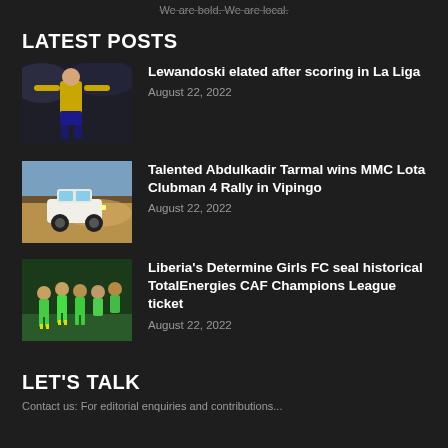We are bold. We are local.
LATEST POSTS
[Figure (photo): Soccer player in yellow jersey celebrating, arms outstretched]
Lewandoski elated after scoring in La Liga
August 22, 2022
[Figure (photo): Rally car driving on a dusty dirt road]
Talented Abdulkadir Tarmal wins MMC Lota Clubman 4 Rally in Vipingo
August 22, 2022
[Figure (photo): Female soccer players in green jerseys celebrating]
Liberia's Determine Girls FC seal historical TotalEnergies CAF Champions League ticket
August 22, 2022
LET'S TALK
Contact us: For editorial enquiries and contributions...